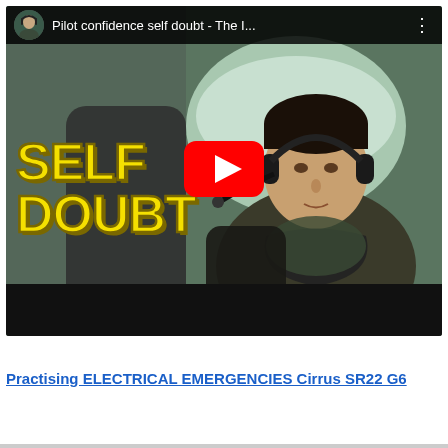[Figure (screenshot): YouTube video thumbnail showing a pilot in a cockpit wearing a headset with a microphone. Large yellow bold text 'SELF DOUBT' overlaid on the left side of the image. A red YouTube play button is centered over the image. The video title bar at top reads 'Pilot confidence self doubt - The I...' with a small avatar thumbnail showing another pilot.]
Practising ELECTRICAL EMERGENCIES Cirrus SR22 G6